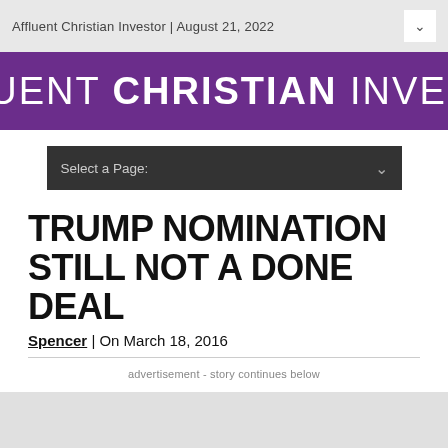Affluent Christian Investor | August 21, 2022
[Figure (logo): Affluent Christian Investor logo banner — white text on purple background reading AFFLUENT CHRISTIAN INVESTOR]
[Figure (screenshot): Dark gray dropdown bar labeled 'Select a Page:' with chevron]
TRUMP NOMINATION STILL NOT A DONE DEAL
Spencer | On March 18, 2016
advertisement - story continues below